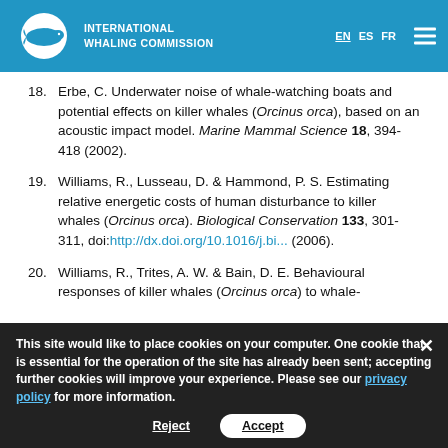INTERNATIONAL WHALING COMMISSION
18. Erbe, C. Underwater noise of whale-watching boats and potential effects on killer whales (Orcinus orca), based on an acoustic impact model. Marine Mammal Science 18, 394-418 (2002).
19. Williams, R., Lusseau, D. & Hammond, P. S. Estimating relative energetic costs of human disturbance to killer whales (Orcinus orca). Biological Conservation 133, 301-311, doi:http://dx.doi.org/10.1016/j.bi... (2006).
20. Williams, R., Trites, A. W. & Bain, D. E. Behavioural responses of killer whales (Orcinus orca) to whale-
This site would like to place cookies on your computer. One cookie that is essential for the operation of the site has already been sent; accepting further cookies will improve your experience. Please see our privacy policy for more information.